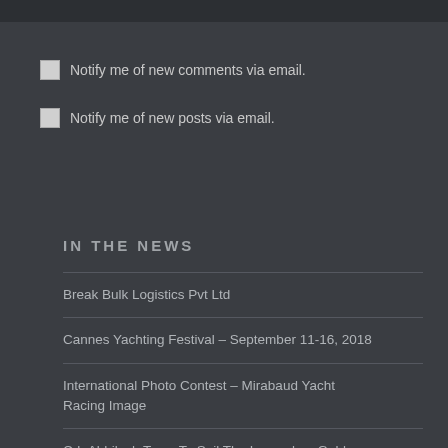Notify me of new comments via email.
Notify me of new posts via email.
IN THE NEWS
Break Bulk Logistics Pvt Ltd
Cannes Yachting Festival – September 11-16, 2018
International Photo Contest – Mirabaud Yacht Racing Image
Cdr Abhilash Tomy To Sail The Legendary Golden